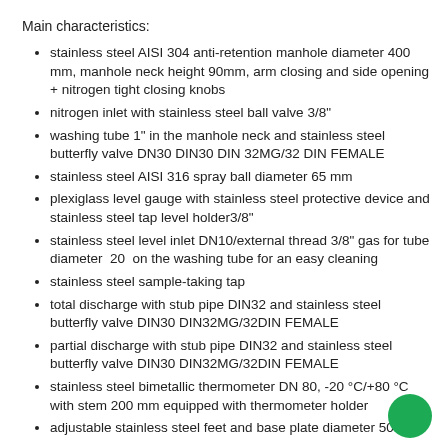Main characteristics:
stainless steel AISI 304 anti-retention manhole diameter 400 mm, manhole neck height 90mm, arm closing and side opening + nitrogen tight closing knobs
nitrogen inlet with stainless steel ball valve 3/8"
washing tube 1" in the manhole neck and stainless steel butterfly valve DN30 DIN30 DIN 32MG/32 DIN FEMALE
stainless steel AISI 316 spray ball diameter 65 mm
plexiglass level gauge with stainless steel protective device and stainless steel tap level holder3/8"
stainless steel level inlet DN10/external thread 3/8" gas for tube diameter 20 on the washing tube for an easy cleaning
stainless steel sample-taking tap
total discharge with stub pipe DIN32 and stainless steel butterfly valve DIN30 DIN32MG/32DIN FEMALE
partial discharge with stub pipe DIN32 and stainless steel butterfly valve DIN30 DIN32MG/32DIN FEMALE
stainless steel bimetallic thermometer DN 80, -20 °C/+80 °C with stem 200 mm equipped with thermometer holder
adjustable stainless steel feet and base plate diameter 50…